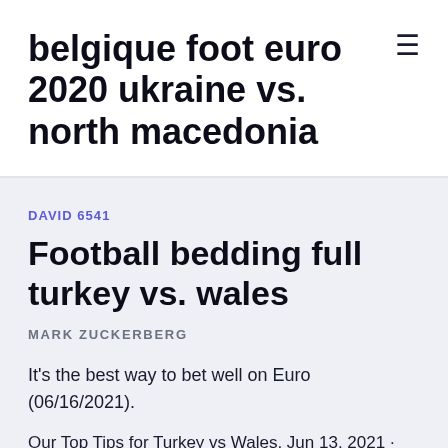belgique foot euro 2020 ukraine vs. north macedonia
DAVID 6541
Football bedding full turkey vs. wales
MARK ZUCKERBERG
It's the best way to bet well on Euro (06/16/2021).
Our Top Tips for Turkey vs Wales, Jun 13, 2021 · Turkey